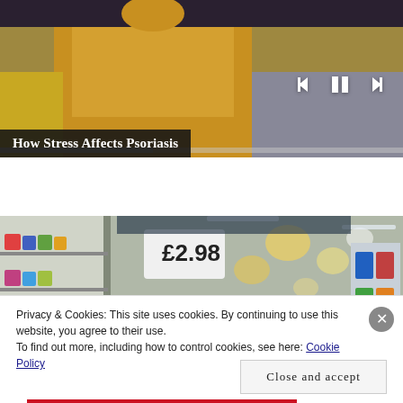[Figure (screenshot): Video player showing a person in a yellow sweater on a couch, with media controls (skip back, pause, skip forward) and a progress bar at the bottom]
How Stress Affects Psoriasis
[Figure (photo): Grocery store aisle with product shelves, bokeh lights in background, and a person partially visible]
Privacy & Cookies: This site uses cookies. By continuing to use this website, you agree to their use.
To find out more, including how to control cookies, see here: Cookie Policy
Close and accept